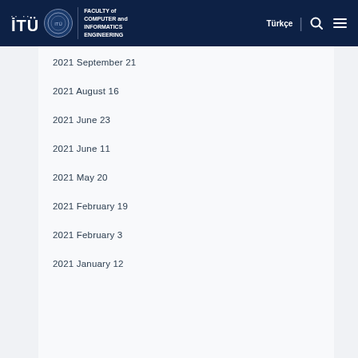İTÜ Faculty of Computer and Informatics Engineering — Türkçe | Search | Menu
2021 September 21
2021 August 16
2021 June 23
2021 June 11
2021 May 20
2021 February 19
2021 February 3
2021 January 12